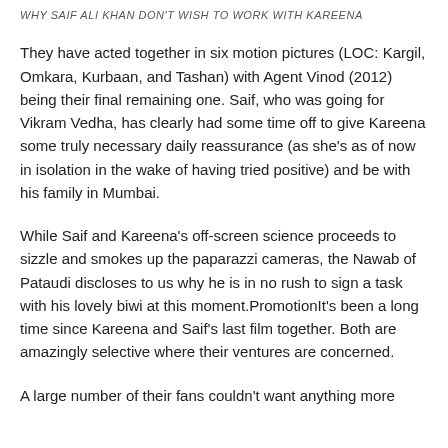WHY SAIF ALI KHAN DON'T WISH TO WORK WITH KAREENA
They have acted together in six motion pictures (LOC: Kargil, Omkara, Kurbaan, and Tashan) with Agent Vinod (2012) being their final remaining one. Saif, who was going for Vikram Vedha, has clearly had some time off to give Kareena some truly necessary daily reassurance (as she's as of now in isolation in the wake of having tried positive) and be with his family in Mumbai.
While Saif and Kareena's off-screen science proceeds to sizzle and smokes up the paparazzi cameras, the Nawab of Pataudi discloses to us why he is in no rush to sign a task with his lovely biwi at this moment.PromotionIt's been a long time since Kareena and Saif's last film together. Both are amazingly selective where their ventures are concerned.
A large number of their fans couldn't want anything more